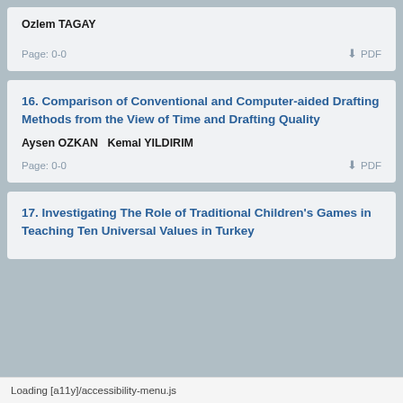Ozlem TAGAY
Page: 0-0   PDF
16. Comparison of Conventional and Computer-aided Drafting Methods from the View of Time and Drafting Quality
Aysen OZKAN   Kemal YILDIRIM
Page: 0-0   PDF
17. Investigating The Role of Traditional Children's Games in Teaching Ten Universal Values in Turkey
Loading [a11y]/accessibility-menu.js